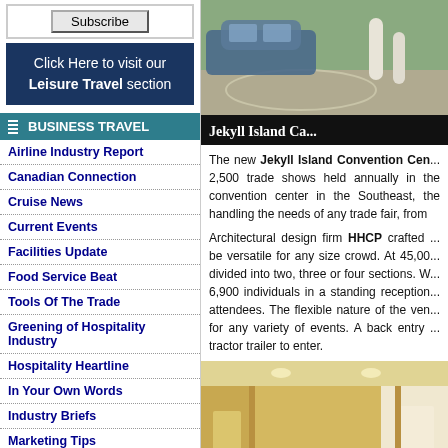[Figure (other): Subscribe button]
Click Here to visit our Leisure Travel section
BUSINESS TRAVEL
Airline Industry Report
Canadian Connection
Cruise News
Current Events
Facilities Update
Food Service Beat
Tools Of The Trade
Greening of Hospitality Industry
Hospitality Heartline
In Your Own Words
Industry Briefs
Marketing Tips
Meeting Planner Packages
Pacific Asia Watch
BM&T MAGAZINE ONLINE
Home
[Figure (photo): Exterior photo of Jekyll Island Convention Center entrance with bollards and car, captioned 'Jekyll Island Ca...']
The new Jekyll Island Convention Cen... 2,500 trade shows held annually in the convention center in the Southeast, the handling the needs of any trade fair, from
Architectural design firm HHCP crafted ... be versatile for any size crowd. At 45,00... divided into two, three or four sections. W... 6,900 individuals in a standing reception... attendees. The flexible nature of the ven... for any variety of events. A back entry ... tractor trailer to enter.
[Figure (photo): Interior corridor photo of Jekyll Island Convention Center showing hallway with recessed lighting]